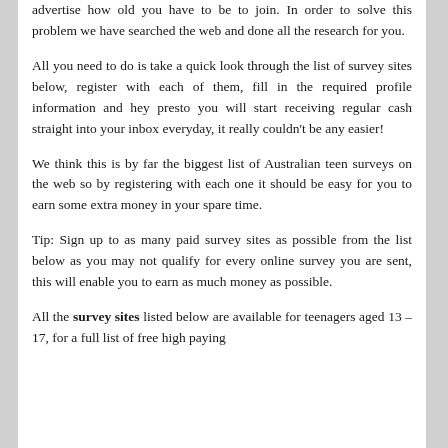advertise how old you have to be to join. In order to solve this problem we have searched the web and done all the research for you.
All you need to do is take a quick look through the list of survey sites below, register with each of them, fill in the required profile information and hey presto you will start receiving regular cash straight into your inbox everyday, it really couldn't be any easier!
We think this is by far the biggest list of Australian teen surveys on the web so by registering with each one it should be easy for you to earn some extra money in your spare time.
Tip: Sign up to as many paid survey sites as possible from the list below as you may not qualify for every online survey you are sent, this will enable you to earn as much money as possible.
All the survey sites listed below are available for teenagers aged 13 – 17, for a full list of free high paying